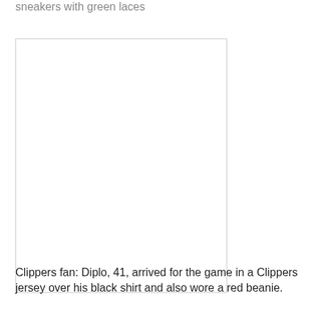sneakers with green laces
[Figure (photo): A blank white image placeholder with a light grey border, representing a photo of a person.]
Clippers fan: Diplo, 41, arrived for the game in a Clippers jersey over his black shirt and also wore a red beanie.